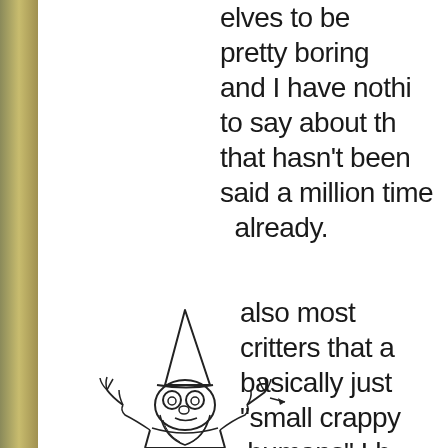[Figure (illustration): Pencil sketch illustration of a gnome or dwarf character with a pointed hat, round glasses, beard, wearing a shirt, with hands raised outward in a shrugging or explaining gesture. The character is shown from roughly the waist up, seated or standing at what appears to be a stump. An arrow points from the character toward the handwritten text.]
elves to be pretty boring and I have nothi to say about th that hasn't been said a million time already.
also most critters that a basically just "small crappy humans" I h no interest in